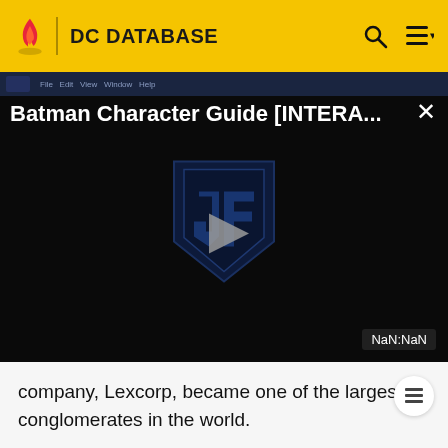DC DATABASE
[Figure (screenshot): Video player showing 'Batman Character Guide [INTERA...' with a dark background, Justice League shield logo, play button in center, and NaN:NaN timestamp. Browser/app window chrome visible at top.]
company, Lexcorp, became one of the largest conglomerates in the world.
As dinner begins, Lois is invited to the podium to say a few jokes, mostly a few light-hearted jokes just to alleviate the tension. She is almost invisible in comparison to